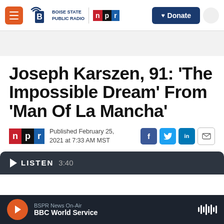Boise State Public Radio | NPR — Donate
Joseph Karszen, 91: 'The Impossible Dream' From 'Man Of La Mancha'
Published February 25, 2021 at 7:33 AM MST
BSPR News On-Air — BBC World Service